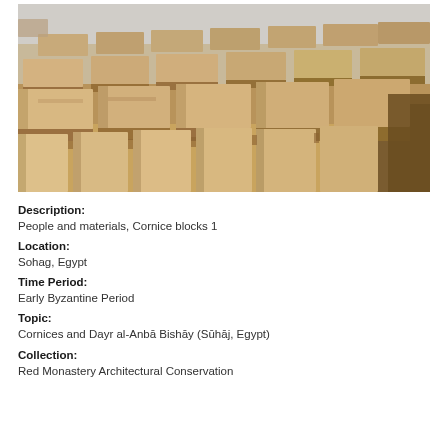[Figure (photo): Photograph of numerous large rectangular limestone/sandstone cornice blocks arranged in rows on sandy ground at an archaeological site. The blocks are pale tan/beige in color and appear to be ancient architectural elements. The sky and surrounding desert landscape are visible in the background.]
Description:
People and materials, Cornice blocks 1
Location:
Sohag, Egypt
Time Period:
Early Byzantine Period
Topic:
Cornices and Dayr al-Anbā Bishāy (Sūhāj, Egypt)
Collection:
Red Monastery Architectural Conservation